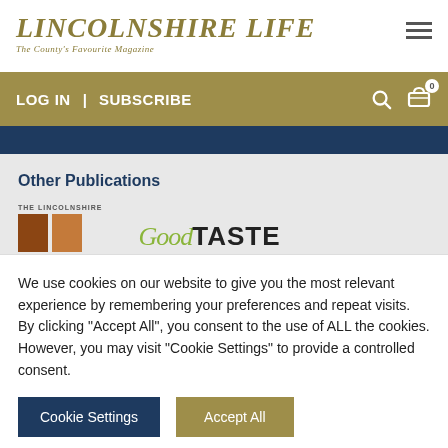LINCOLNSHIRE LIFE — The County's Favourite Magazine
LOG IN | SUBSCRIBE
Other Publications
[Figure (logo): The Lincolnshire — two rectangular blocks logo]
[Figure (logo): GoodTASTE logo in stylized italic and bold text]
We use cookies on our website to give you the most relevant experience by remembering your preferences and repeat visits. By clicking "Accept All", you consent to the use of ALL the cookies. However, you may visit "Cookie Settings" to provide a controlled consent.
Cookie Settings
Accept All